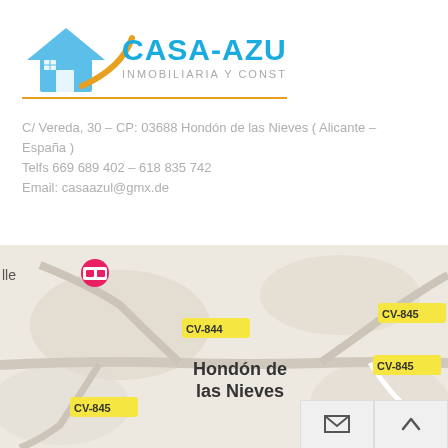[Figure (logo): Casa-Azul Inmobiliaria y Construcciones logo with house icon and curved orange stripe]
C/ Vereda, 30 – CP: 03688 Hondón de las Nieves ( Alicante – España )
Telfs 669 689 402 – 618 835 742
Email: casaazul@gmx.de
[Figure (map): Google Maps screenshot showing Hondón de las Nieves area with road labels CV-844 and CV-845]